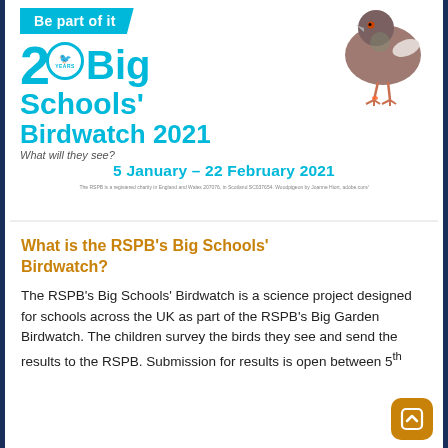[Figure (infographic): Big Schools' Birdwatch 2021 promotional poster. Shows a pigeon photo top right, a cyan diagonal banner saying 'Be part of it', the '20 years' logo in cyan with 'Big Schools' Birdwatch 2021' text, tagline 'What will they see?', date '5 January – 22 February 2021', and small RSPB legal text at bottom.]
What is the RSPB's Big Schools' Birdwatch?
The RSPB's Big Schools' Birdwatch is a science project designed for schools across the UK as part of the RSPB's Big Garden Birdwatch. The children survey the birds they see and send the results to the RSPB. Submission for results is open between 5th